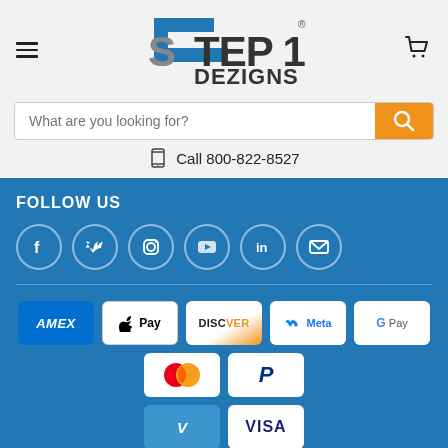[Figure (logo): Step 1 Dezigns - Lighting Innovation logo with blue stair-step graphic]
What are you looking for?
Call 800-822-8527
FOLLOW US
[Figure (infographic): Social media icons: Facebook, Twitter, Instagram, YouTube, LinkedIn, Email]
[Figure (infographic): Payment method badges: AMEX, Apple Pay, Discover, Meta, Google Pay, Mastercard, PayPal, Venmo, Visa]